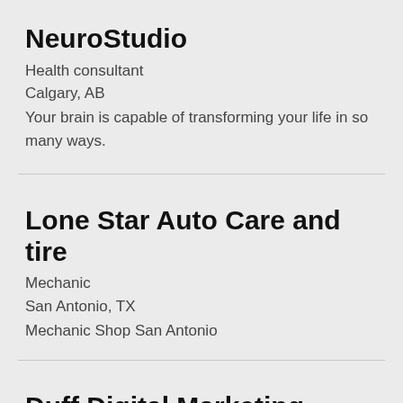NeuroStudio
Health consultant
Calgary, AB
Your brain is capable of transforming your life in so many ways.
Lone Star Auto Care and tire
Mechanic
San Antonio, TX
Mechanic Shop San Antonio
Duff Digital Marketing
Internet marketing service
Greensboro, NC